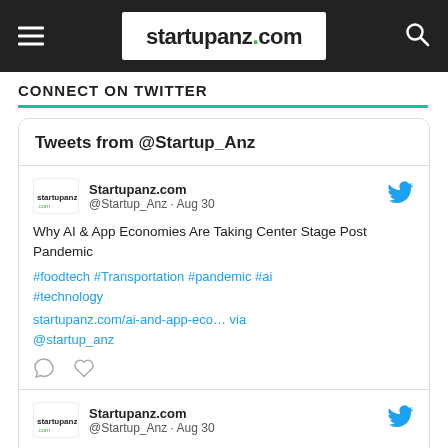startupanz.com
CONNECT ON TWITTER
Tweets from @Startup_Anz
Startupanz.com @Startup_Anz · Aug 30
Why AI & App Economies Are Taking Center Stage Post Pandemic
#foodtech #Transportation #pandemic #ai #technology
startupanz.com/ai-and-app-eco… via @startup_anz
Startupanz.com @Startup_Anz · Aug 30